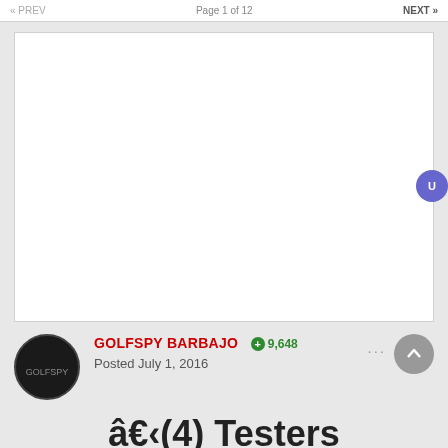Page 1 of 12  NEXT »
[Figure (photo): Large white blank image placeholder area]
GOLFSPY BARBAJO  +9,648
Posted July 1, 2016
â€‹(4) Testers